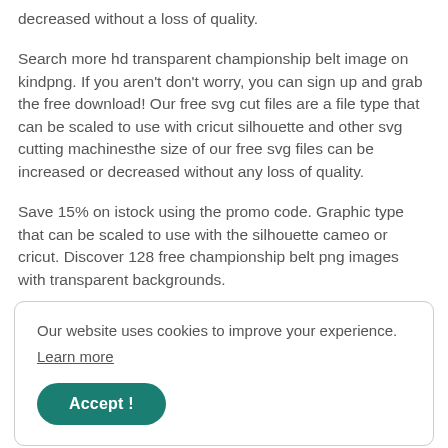decreased without a loss of quality.
Search more hd transparent championship belt image on kindpng. If you aren't don't worry, you can sign up and grab the free download! Our free svg cut files are a file type that can be scaled to use with cricut silhouette and other svg cutting machinesthe size of our free svg files can be increased or decreased without any loss of quality.
Save 15% on istock using the promo code. Graphic type that can be scaled to use with the silhouette cameo or cricut. Discover 128 free championship belt png images with transparent backgrounds.
Our website uses cookies to improve your experience.
Learn more
Accept !